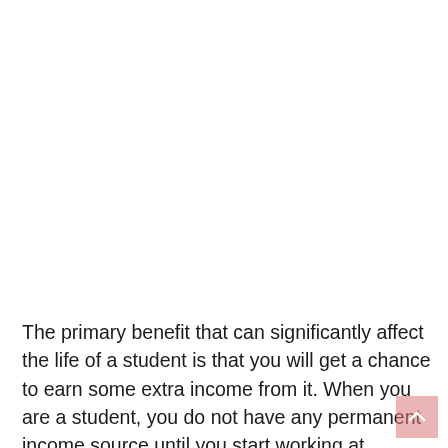[Figure (other): Close button overlay UI element with red background and '✕ CLOSE' label]
The primary benefit that can significantly affect the life of a student is that you will get a chance to earn some extra income from it. When you are a student, you do not have any permanent income source until you start working at someplace, but it doesn't mean that you also have any sort of expenses. Students have